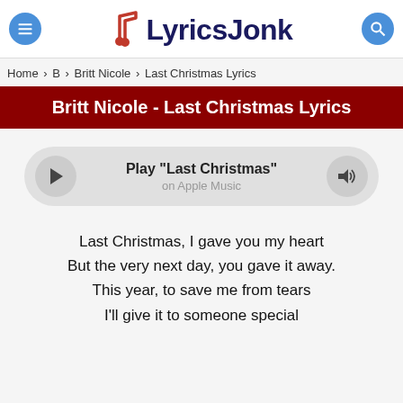LyricsJonk
Home > B > Britt Nicole > Last Christmas Lyrics
Britt Nicole - Last Christmas Lyrics
[Figure (other): Music player widget with play button, 'Play "Last Christmas" on Apple Music' text, and volume button]
Last Christmas, I gave you my heart
But the very next day, you gave it away.
This year, to save me from tears
I'll give it to someone special